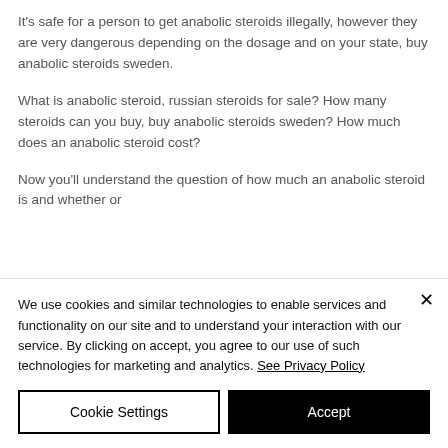It's safe for a person to get anabolic steroids illegally, however they are very dangerous depending on the dosage and on your state, buy anabolic steroids sweden.
What is anabolic steroid, russian steroids for sale? How many steroids can you buy, buy anabolic steroids sweden? How much does an anabolic steroid cost?
Now you'll understand the question of how much an anabolic steroid is and whether or
We use cookies and similar technologies to enable services and functionality on our site and to understand your interaction with our service. By clicking on accept, you agree to our use of such technologies for marketing and analytics. See Privacy Policy
Cookie Settings
Accept